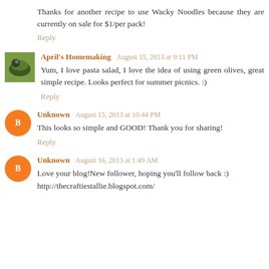Thanks for another recipe to use Wacky Noodles because they are currently on sale for $1/per pack!
Reply
April's Homemaking  August 15, 2013 at 9:11 PM
Yum, I love pasta salad, I love the idea of using green olives, great simple recipe. Looks perfect for summer picnics. :)
Reply
Unknown  August 15, 2013 at 10:44 PM
This looks so simple and GOOD! Thank you for sharing!
Reply
Unknown  August 16, 2013 at 1:49 AM
Love your blog!New follower, hoping you'll follow back :) http://thecraftiestallie.blogspot.com/